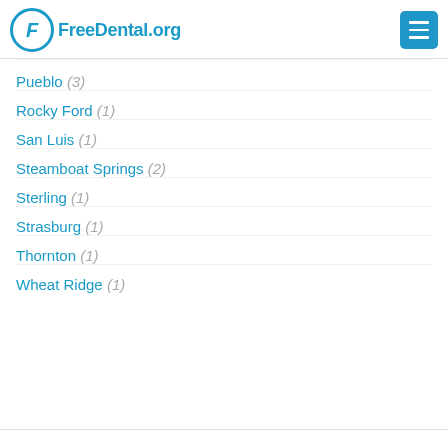FreeDental.org
Pueblo (3)
Rocky Ford (1)
San Luis (1)
Steamboat Springs (2)
Sterling (1)
Strasburg (1)
Thornton (1)
Wheat Ridge (1)